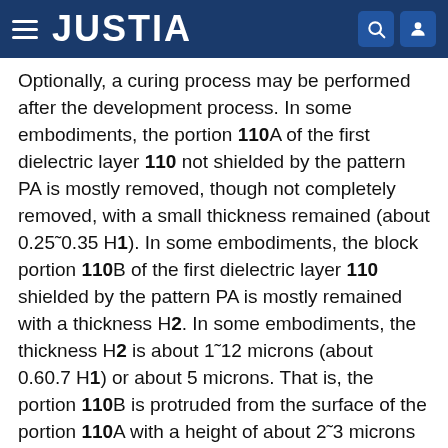JUSTIA
Optionally, a curing process may be performed after the development process. In some embodiments, the portion 110A of the first dielectric layer 110 not shielded by the pattern PA is mostly removed, though not completely removed, with a small thickness remained (about 0.25~0.35 H1). In some embodiments, the block portion 110B of the first dielectric layer 110 shielded by the pattern PA is mostly remained with a thickness H2. In some embodiments, the thickness H2 is about 1~12 microns (about 0.60.7 H1) or about 5 microns. That is, the portion 110B is protruded from the surface of the portion 110A with a height of about 2~3 microns or about 2.5 microns. In some embodiments, the pattern of the protruded portion 110B corresponds to the pattern PA (FIG. 1A). In some embodiments, the pattern of the portion 110B may include round or tetragonal blocks as dummy pad patterns.